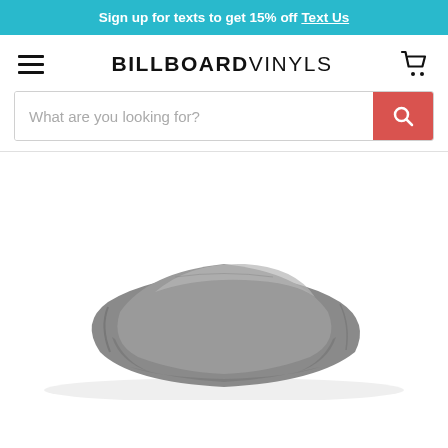Sign up for texts to get 15% off Text Us
[Figure (logo): BILLBOARDVINYLS logo with hamburger menu and cart icon]
What are you looking for?
[Figure (photo): A folded gray vinyl roll/tarp product on a white background]